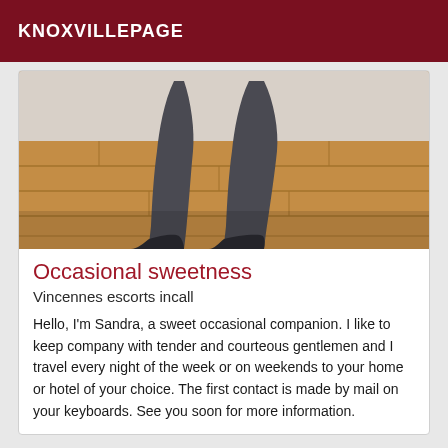KNOXVILLEPAGE
[Figure (photo): Photo showing legs in dark stockings/nylons standing on a wooden laminate floor near a white wall]
Occasional sweetness
Vincennes escorts incall
Hello, I'm Sandra, a sweet occasional companion. I like to keep company with tender and courteous gentlemen and I travel every night of the week or on weekends to your home or hotel of your choice. The first contact is made by mail on your keyboards. See you soon for more information.
[Figure (photo): Partial photo at bottom of page, with an 'Online' badge in dark red in the bottom right corner]